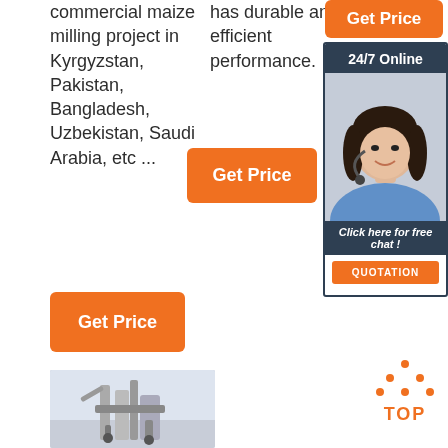commercial maize milling project in Kyrgyzstan, Pakistan, Bangladesh, Uzbekistan, Saudi Arabia, etc ...
has durable and efficient performance.
[Figure (other): Orange 'Get Price' button at top right]
[Figure (other): 24/7 Online customer service sidebar widget with a photo of a smiling woman with headset, 'Click here for free chat!' label, and orange QUOTATION button]
[Figure (other): Orange 'Get Price' button in center column]
[Figure (other): Orange 'Get Price' button at bottom left]
[Figure (other): Industrial maize milling machine photo at bottom left]
[Figure (other): Orange dotted triangle TOP button at bottom right]